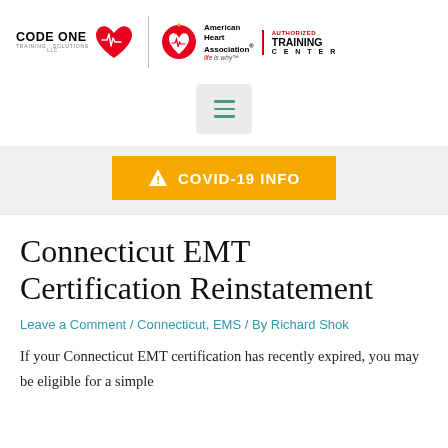[Figure (logo): Code One Training Solutions logo with red heart and EKG line, combined with American Heart Association logo and Authorized Training Center badge]
[Figure (other): Hamburger menu button with three green lines on light gray rounded square background]
[Figure (other): Yellow COVID-19 INFO banner button with warning triangle icon]
Connecticut EMT Certification Reinstatement
Leave a Comment / Connecticut, EMS / By Richard Shok
If your Connecticut EMT certification has recently expired, you may be eligible for a simple